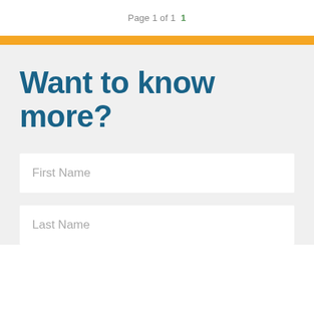Page 1 of 1  1
Want to know more?
First Name
Last Name